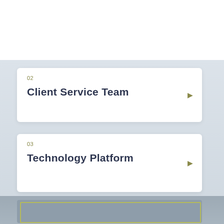[Figure (logo): ALN logo with stylized A, L, N letters in navy and olive/dark gold colors]
02 Client Service Team
03 Technology Platform